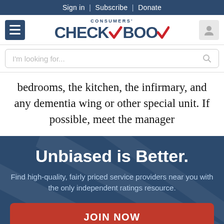Sign in | Subscribe | Donate
[Figure (logo): Consumers' Checkbook logo with red checkmark]
I'm looking for...
bedrooms, the kitchen, the infirmary, and any dementia wing or other special unit. If possible, meet the manager
Unbiased is Better.
Find high-quality, fairly priced service providers near you with the only independent ratings resource.
JOIN NOW
NO THANKS, MAYBE LATER.